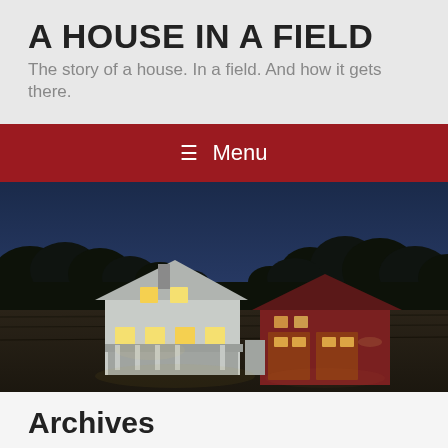A HOUSE IN A FIELD
The story of a house. In a field. And how it gets there.
Menu
[Figure (photo): A farmhouse and barn at dusk, lit from within, set against dark treeline and twilight sky in a field]
Archives